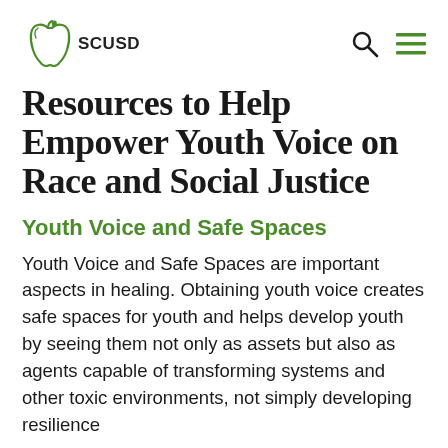SCUSD
Resources to Help Empower Youth Voice on Race and Social Justice
Youth Voice and Safe Spaces
Youth Voice and Safe Spaces are important aspects in healing. Obtaining youth voice creates safe spaces for youth and helps develop youth by seeing them not only as assets but also as agents capable of transforming systems and other toxic environments, not simply developing resilience